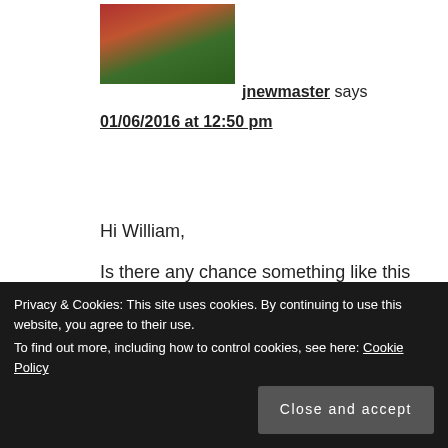[Figure (photo): Avatar thumbnail of user jnewmaster, showing a person in a green shirt]
jnewmaster says
01/06/2016 at 12:50 pm
Hi William,
Is there any chance something like this may be officially implemented within the VCSA at some point?
Also, if you have other PSCs at other sites would it be best if the other sites PSCs replicate with the primary PSC only or with both PSCs?
Thanks
Privacy & Cookies: This site uses cookies. By continuing to use this website, you agree to their use.
To find out more, including how to control cookies, see here: Cookie Policy
Close and accept